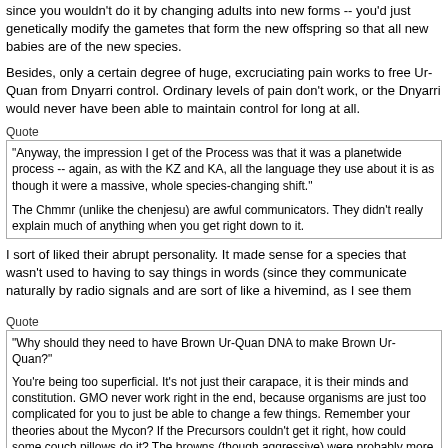since you wouldn't do it by changing adults into new forms -- you'd just genetically modify the gametes that form the new offspring so that all new babies are of the new species.
Besides, only a certain degree of huge, excruciating pain works to free Ur-Quan from Dnyarri control. Ordinary levels of pain don't work, or the Dnyarri would never have been able to maintain control for long at all.
Quote
"Anyway, the impression I get of the Process was that it was a planetwide process -- again, as with the KZ and KA, all the language they use about it is as though it were a massive, whole species-changing shift."

The Chmmr (unlike the chenjesu) are awful communicators. They didn't really explain much of anything when you get right down to it.
I sort of liked their abrupt personality. It made sense for a species that wasn't used to having to say things in words (since they communicate naturally by radio signals and are sort of like a hivemind, as I see them
Quote
"Why should they need to have Brown Ur-Quan DNA to make Brown Ur-Quan?"

You're being too superficial. It's not just their carapace, it is their minds and constitution. GMO never work right in the end, because organisms are just too complicated for you to just be able to change a few things. Remember your theories about the Mycon? If the Precursors couldn't get it right, how could some couch pillows do it? The browns (though aggressive) were probably more balanced, evolutionary organisms.
*shrug* All the descriptions of the Ur-Quan don't show them to be that much more psychologically balanced than the Kzer-Za or Kohr-Ah.
And you go way to far by saying genetic engineering "never works". It